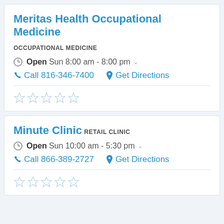Meritas Health Occupational Medicine
OCCUPATIONAL MEDICINE
Open Sun 8:00 am - 8:00 pm
Call 816-346-7400  Get Directions
[Figure (other): Five empty star rating icons]
Minute Clinic
RETAIL CLINIC
Open Sun 10:00 am - 5:30 pm
Call 866-389-2727  Get Directions
[Figure (other): Five empty star rating icons]